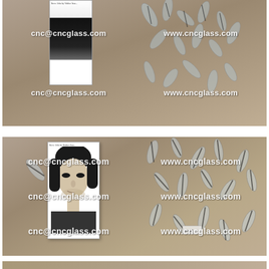[Figure (photo): Top photo showing a book and scattered transparent glass interlayer film pieces on a brown table surface, watermarked with cnc@cncglass.com and www.cncglass.com]
[Figure (photo): Middle photo showing the Steve Jobs biography book cover (with Steve Jobs portrait) alongside many scattered transparent glass interlayer film leaf/feather shaped pieces on a brown table, multiple watermark overlays of cnc@cncglass.com and www.cncglass.com]
[Figure (photo): Bottom partial photo, partially visible strip showing similar product on brown background]